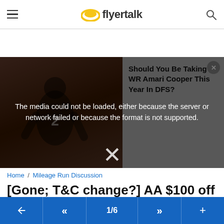flyertalk
[Figure (screenshot): Video player showing a football player wearing #2 jersey, with error message overlay: 'The media could not be loaded, either because the server or network failed or because the format is not supported.' Right side shows an ad panel with text 'Should You Be Taking WR Amari Cooper This Year In DFS?' with a close X button.]
Home / Mileage Run Discussion
[Gone; T&C change?] AA $100 off Air+Hotel - great for 1-night MRs
Subscribe
1/6